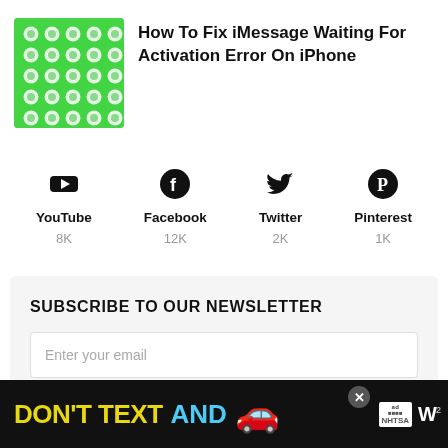[Figure (illustration): Green LEGO-style brick pattern thumbnail image]
How To Fix iMessage Waiting For Activation Error On iPhone
[Figure (infographic): Social media icons row: YouTube 8K, Facebook 12K, Twitter 2K, Pinterest 1K]
SUBSCRIBE TO OUR NEWSLETTER
Enter your email
[Figure (photo): Ad banner: DON'T TEXT AND [car emoji] with NHTSA logo and close button]